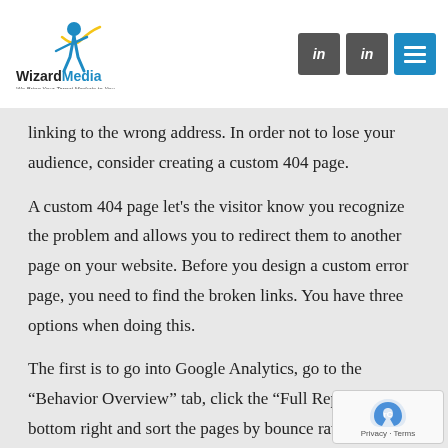[Figure (logo): WizardMedia logo with blue figure and text 'WizardMedia - We Bring Your Target Markets to You...']
linking to the wrong address. In order not to lose your audience, consider creating a custom 404 page.
A custom 404 page let's the visitor know you recognize the problem and allows you to redirect them to another page on your website. Before you design a custom error page, you need to find the broken links. You have three options when doing this.
The first is to go into Google Analytics, go to the “Behavior Overview” tab, click the “Full Report” at the bottom right and sort the pages by bounce rate on page. Click again to sort from “Worst to Best”.